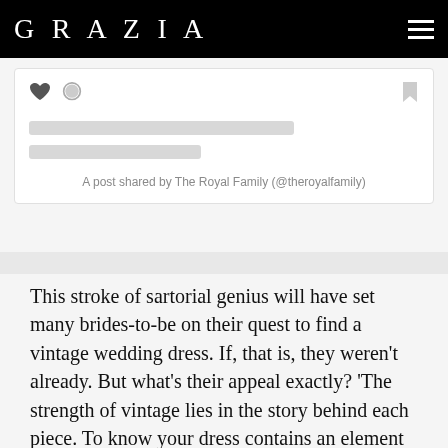GRAZIA
[Figure (screenshot): Social media card with heart, comment, and bookmark icons, two skeleton loading lines, and post credit text: A post shared by The Royal Family (@theroyalfamily)]
This stroke of sartorial genius will have set many brides-to-be on their quest to find a vintage wedding dress. If, that is, they weren't already. But what's their appeal exactly? 'The strength of vintage lies in the story behind each piece. To know your dress contains an element of history